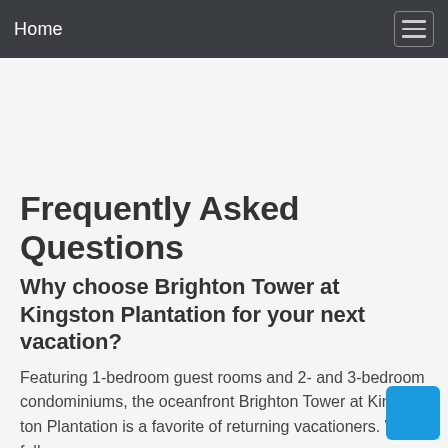Home
Frequently Asked Questions
Why choose Brighton Tower at Kingston Plantation for your next vacation?
Featuring 1-bedroom guest rooms and 2- and 3-bedroom condominiums, the oceanfront Brighton Tower at Kingston Plantation is a favorite of returning vacationers. With fully